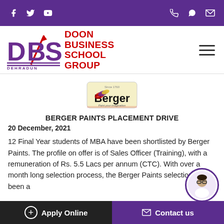Social media icons: Facebook, Twitter, YouTube (left); Phone, WhatsApp, Email (right)
[Figure (logo): DBS Doon Business School Group Dehradun logo with red arrow graphic]
[Figure (logo): Berger Paints logo with tagline 'Paint your imagination']
BERGER PAINTS PLACEMENT DRIVE
20 December, 2021
12 Final Year students of MBA have been shortlisted by Berger Paints. The profile on offer is of Sales Officer (Training), with a remuneration of Rs. 5.5 Lacs per annum (CTC). With over a month long selection process, the Berger Paints selection has been a
Apply Online   Contact us